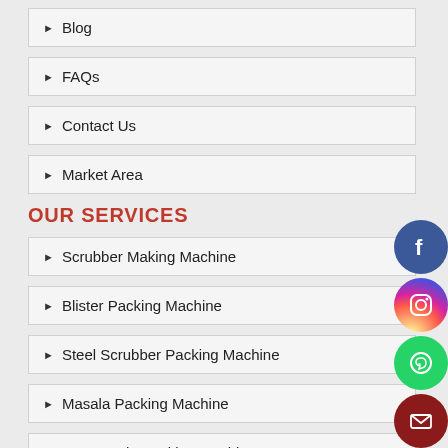Blog
FAQs
Contact Us
Market Area
OUR SERVICES
Scrubber Making Machine
Blister Packing Machine
Steel Scrubber Packing Machine
Masala Packing Machine
Dry Masala Packing Machine
Steel Scrubber Making Machine